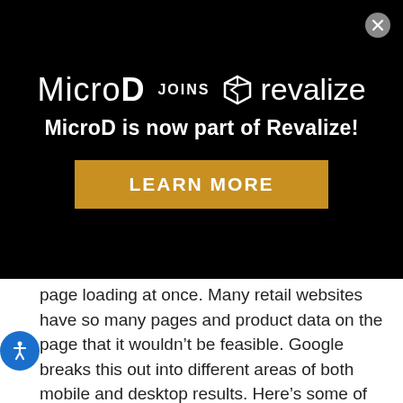[Figure (infographic): MicroD joins Revalize banner advertisement on black background. Shows MicroD logo, JOINS text, Revalize logo icon and name, subtitle 'MicroD is now part of Revalize!', and a gold 'LEARN MORE' button. A grey close button (X) is in the top right corner.]
page loading at once. Many retail websites have so many pages and product data on the page that it wouldn’t be feasible. Google breaks this out into different areas of both mobile and desktop results. Here’s some of what they’re looking at.
Largest Contentful Paint (LCP) measures the time it takes for your page to load the main screen of information visible to the user in that window (also called viewport).
First Input Delay (FID): How long it takes the page to